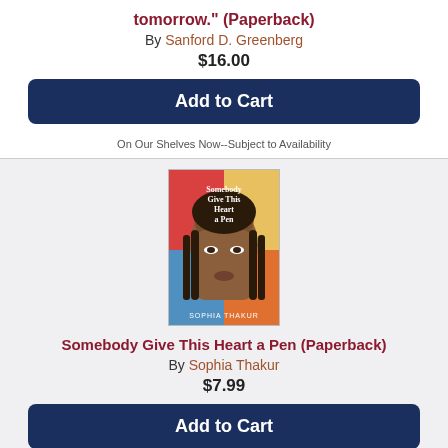tomorrow." (Paperback)
By Sanford D. Greenberg
$16.00
Add to Cart
On Our Shelves Now--Subject to Availability
[Figure (photo): Book cover of 'Somebody Give This Heart a Pen' by Sophia Thakur, showing a young woman's face with braids and colorful background]
Somebody Give This Heart a Pen (Paperback)
By Sophia Thakur
$7.99
Add to Cart
On Our Shelves Now--Subject to Availability